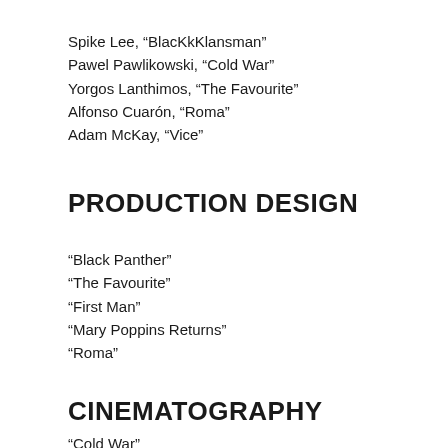Spike Lee, “BlacKkKlansman”
Pawel Pawlikowski, “Cold War”
Yorgos Lanthimos, “The Favourite”
Alfonso Cuarón, “Roma”
Adam McKay, “Vice”
PRODUCTION DESIGN
“Black Panther”
“The Favourite”
“First Man”
“Mary Poppins Returns”
“Roma”
CINEMATOGRAPHY
“Cold War”